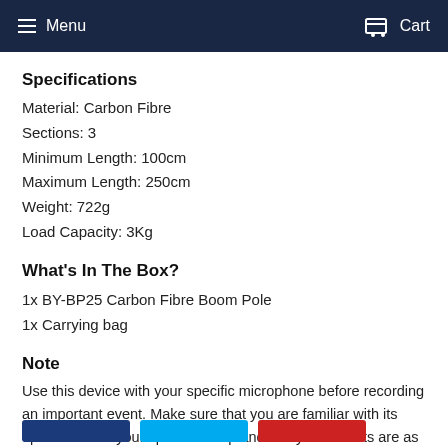Menu   Cart
Specifications
Material: Carbon Fibre
Sections: 3
Minimum Length: 100cm
Maximum Length: 250cm
Weight: 722g
Load Capacity: 3Kg
What's In The Box?
1x BY-BP25 Carbon Fibre Boom Pole
1x Carrying bag
Note
Use this device with your specific microphone before recording an important event. Make sure that you are familiar with its operation with your specific setup and verify the results are as expected.